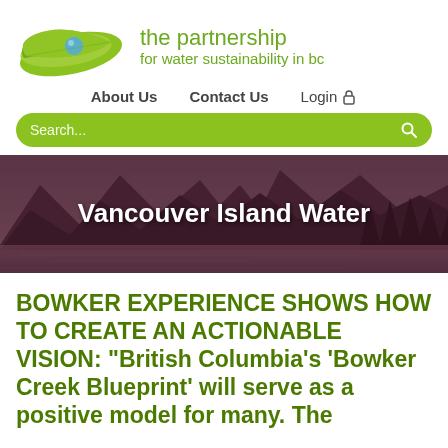[Figure (logo): Partnership for Water Sustainability in BC logo — green leaf with water drop]
the partnership for water sustainability in bc
About Us   Contact Us   Login
[Figure (screenshot): Green rounded search bar with placeholder text 'Search...' and a magnifying glass icon]
[Figure (photo): Banner photo of a mountain fjord scene with dark purplish tones, overlaid with text 'Vancouver Island Water']
BOWKER EXPERIENCE SHOWS HOW TO CREATE AN ACTIONABLE VISION: "British Columbia's 'Bowker Creek Blueprint' will serve as a positive model for many. The